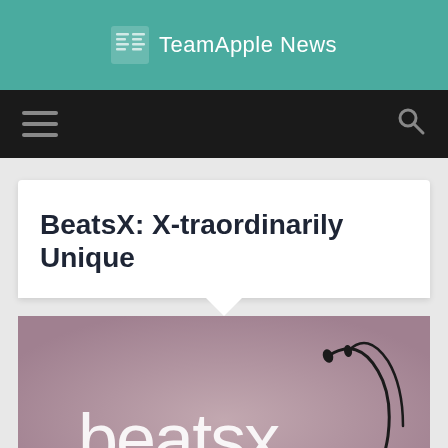TeamApple News
[Figure (screenshot): TeamApple News website header with teal background, newspaper icon and site name]
BeatsX: X-traordinarily Unique
[Figure (photo): BeatsX wireless earphones product image on pink/mauve background with 'beatsx' logo text in white]